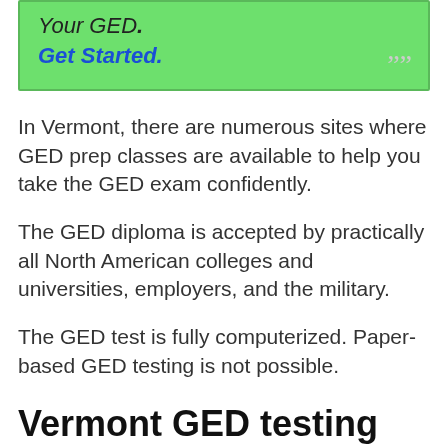[Figure (other): Green rounded box with italic text 'Your GED.' and blue bold italic 'Get Started.' with decorative quotation marks in bottom right]
In Vermont, there are numerous sites where GED prep classes are available to help you take the GED exam confidently.
The GED diploma is accepted by practically all North American colleges and universities, employers, and the military.
The GED test is fully computerized. Paper-based GED testing is not possible.
Vermont GED testing requirements